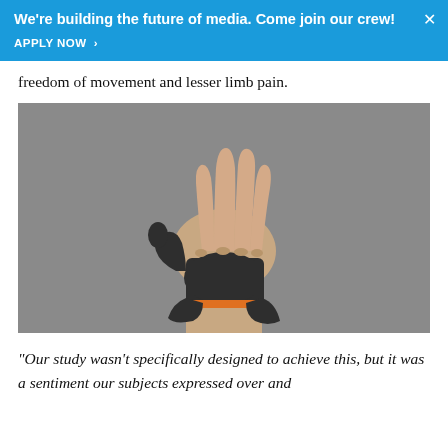We're building the future of media. Come join our crew! APPLY NOW >
freedom of movement and lesser limb pain.
[Figure (photo): A hand wearing a dark grey ergonomic hand/wrist brace with orange fastening strap, fingers spread upward against a grey background.]
“Our study wasn’t specifically designed to achieve this, but it was a sentiment our subjects expressed over and